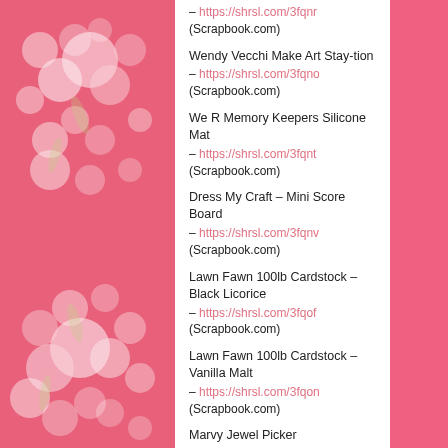– https://shrsl.com/3fqnr (Scrapbook.com)
Wendy Vecchi Make Art Stay-tion
– https://shrsl.com/3fqno (Scrapbook.com)
We R Memory Keepers Silicone Mat
– https://shrsl.com/3fqnt (Scrapbook.com)
Dress My Craft – Mini Score Board
– https://shrsl.com/3fqnv (Scrapbook.com)
Lawn Fawn 100lb Cardstock – Black Licorice
– https://shrsl.com/3fqof (Scrapbook.com)
Lawn Fawn 100lb Cardstock – Vanilla Malt
– https://shrsl.com/3fqon (Scrapbook.com)
Marvy Jewel Picker